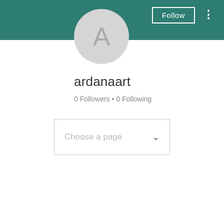[Figure (screenshot): Mobile app profile page screenshot showing a teal/green header banner with a Follow button and three-dot menu, a circular avatar with letter A, username ardanaart, follower/following counts, and a Choose a page dropdown.]
ardanaart
0 Followers • 0 Following
Choose a page